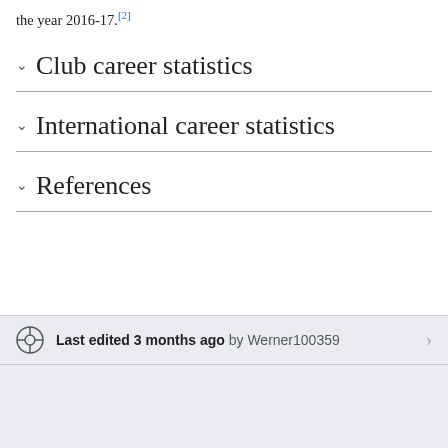the year 2016-17.[2]
Club career statistics
International career statistics
References
Last edited 3 months ago by Werner100359